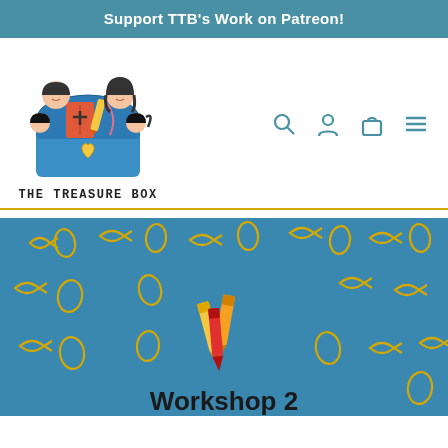Support TTB's Work on Patreon!
[Figure (logo): The Treasure Box logo: cartoon illustration of a family (two parents and two children) peeking over a blue treasure box containing a bible and other items, with text 'THE TREASURE BOX' below]
[Figure (illustration): Navigation icons: search (magnifying glass), account (person silhouette), cart (shopping bag), and menu (hamburger icon) in teal/blue color]
[Figure (illustration): Hero banner image with blue background covered in yellow fish/ichthys symbols and yellow rope loops pattern, with a bundle of crayons (red and yellow) in the center]
Workshop 2